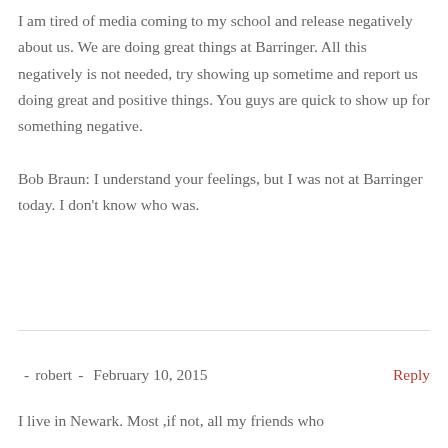I am tired of media coming to my school and release negatively about us. We are doing great things at Barringer. All this negatively is not needed, try showing up sometime and report us doing great and positive things. You guys are quick to show up for something negative.

Bob Braun: I understand your feelings, but I was not at Barringer today. I don't know who was.
- robert - February 10, 2015   Reply
I live in Newark. Most ,if not, all my friends who